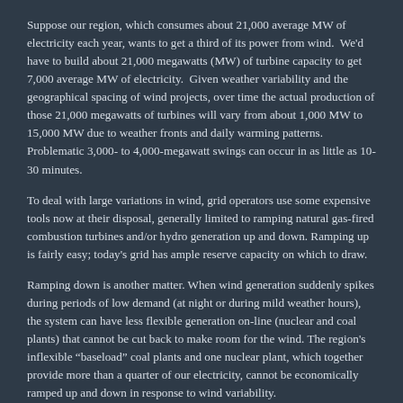Suppose our region, which consumes about 21,000 average MW of electricity each year, wants to get a third of its power from wind. We'd have to build about 21,000 megawatts (MW) of turbine capacity to get 7,000 average MW of electricity. Given weather variability and the geographical spacing of wind projects, over time the actual production of those 21,000 megawatts of turbines will vary from about 1,000 MW to 15,000 MW due to weather fronts and daily warming patterns. Problematic 3,000- to 4,000-megawatt swings can occur in as little as 10-30 minutes.
To deal with large variations in wind, grid operators use some expensive tools now at their disposal, generally limited to ramping natural gas-fired combustion turbines and/or hydro generation up and down. Ramping up is fairly easy; today's grid has ample reserve capacity on which to draw.
Ramping down is another matter. When wind generation suddenly spikes during periods of low demand (at night or during mild weather hours), the system can have less flexible generation on-line (nuclear and coal plants) that cannot be cut back to make room for the wind. The region's inflexible "baseload" coal plants and one nuclear plant, which together provide more than a quarter of our electricity, cannot be economically ramped up and down in response to wind variability.
Previous Transformers and NW Energy Coalition's Bright Future report have addressed wind-integration issues, noting – in particular – that the problems will lessen as we progressively eliminate coal-fueled power from the Northwest grid, as renewable projects grow and become more diverse and geographical